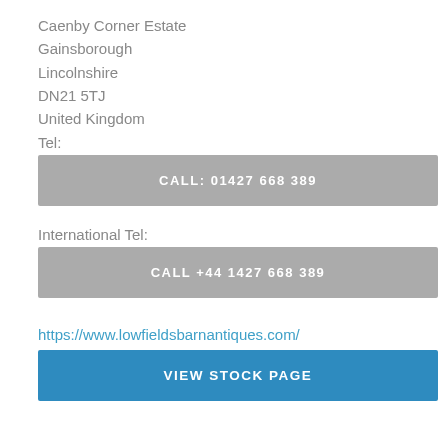Caenby Corner Estate
Gainsborough
Lincolnshire
DN21 5TJ
United Kingdom
Tel:
[Figure (other): Grey button with text CALL: 01427 668 389]
International Tel:
[Figure (other): Grey button with text CALL +44 1427 668 389]
https://www.lowfieldsbarnantiques.com/
[Figure (other): Blue button with text VIEW STOCK PAGE]